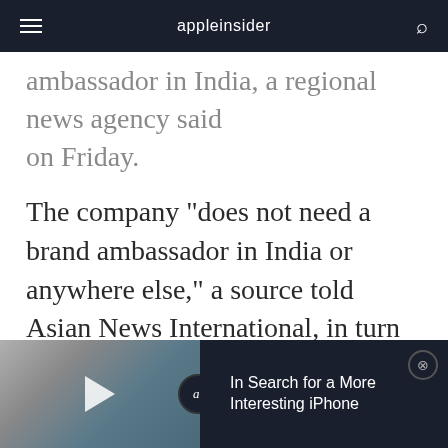appleinsider
ambassador in India, a regional news agency said on Friday.
The company "does not need a brand ambassador in India or anywhere else," a source told Asian News International, in turn quoted by the Times of India. Khan is extremely famous in the country, and would potentially be a major coup for Apple's marketing efforts.
[Figure (screenshot): Video player bar showing an iPhone image thumbnail with a play button, an 'ai' badge, and the title 'In Search for a More Interesting iPhone' on a dark background with a close button.]